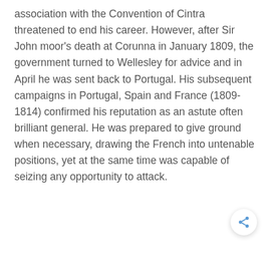association with the Convention of Cintra threatened to end his career. However, after Sir John moor's death at Corunna in January 1809, the government turned to Wellesley for advice and in April he was sent back to Portugal. His subsequent campaigns in Portugal, Spain and France (1809-1814) confirmed his reputation as an astute often brilliant general. He was prepared to give ground when necessary, drawing the French into untenable positions, yet at the same time was capable of seizing any opportunity to attack.